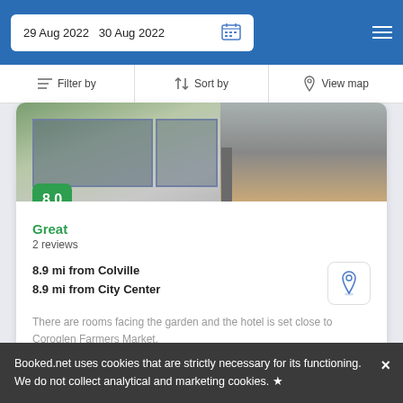29 Aug 2022  30 Aug 2022
Filter by  Sort by  View map
[Figure (photo): Hotel exterior photo showing windows and building facade]
8.0
Great
2 reviews
8.9 mi from Colville
8.9 mi from City Center
There are rooms facing the garden and the hotel is set close to Coroglen Farmers Market.
from  us$ 119/night  SELECT
Booked.net uses cookies that are strictly necessary for its functioning. We do not collect analytical and marketing cookies.